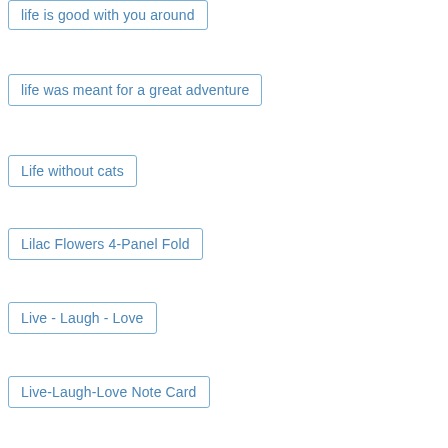life is good with you around
life was meant for a great adventure
Life without cats
Lilac Flowers 4-Panel Fold
Live - Laugh - Love
Live-Laugh-Love Note Card
Live Laugh Love Create Canvas
live simply... Faux Leather Tag
live your dream shaker card
living my dream
Love Block Card
Loved Beyond Measure